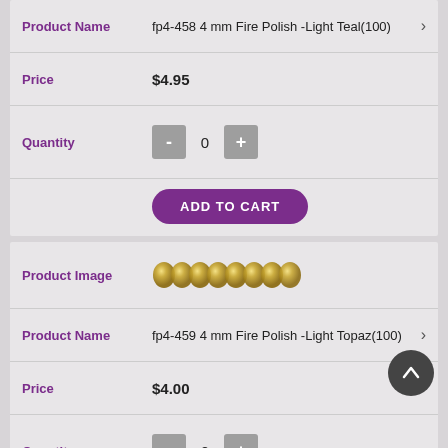| Field | Value |
| --- | --- |
| Product Name | fp4-458 4 mm Fire Polish -Light Teal(100) |
| Price | $4.95 |
| Quantity | 0 |
|  | ADD TO CART |
| Field | Value |
| --- | --- |
| Product Image | [gold beads image] |
| Product Name | fp4-459 4 mm Fire Polish -Light Topaz(100) |
| Price | $4.00 |
| Quantity | 0 |
|  | ADD TO CART |
| Field | Value |
| --- | --- |
| Product Image | [iridescent beads image] |